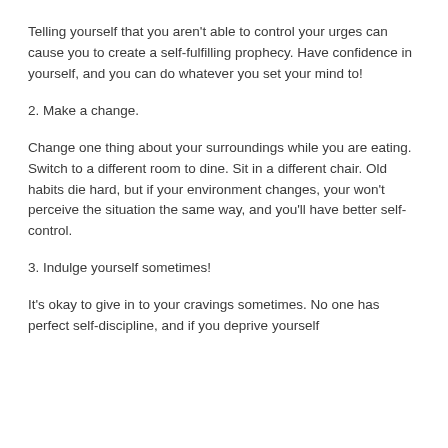Telling yourself that you aren't able to control your urges can cause you to create a self-fulfilling prophecy. Have confidence in yourself, and you can do whatever you set your mind to!
2. Make a change.
Change one thing about your surroundings while you are eating. Switch to a different room to dine. Sit in a different chair. Old habits die hard, but if your environment changes, your won't perceive the situation the same way, and you'll have better self-control.
3. Indulge yourself sometimes!
It's okay to give in to your cravings sometimes. No one has perfect self-discipline, and if you deprive yourself